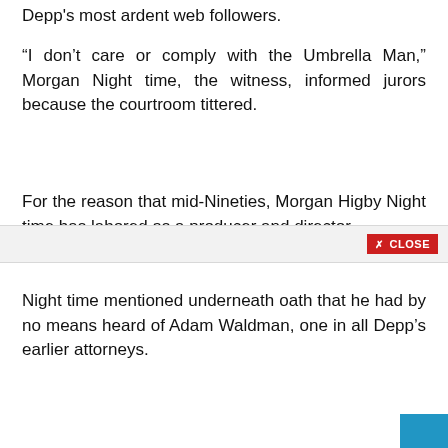Depp's most ardent web followers.
“I don’t care or comply with the Umbrella Man,” Morgan Night time, the witness, informed jurors because the courtroom tittered.
For the reason that mid-Nineties, Morgan Higby Night time has labored as a producer and director.
Night time mentioned underneath oath that he had by no means heard of Adam Waldman, one in all Depp’s earlier attorneys.